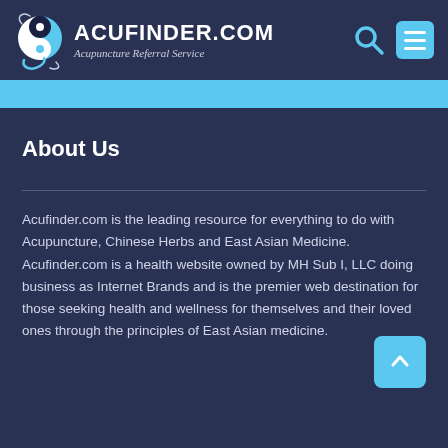[Figure (logo): Acufinder.com logo with yin-yang dragon icon, site name ACUFINDER.COM and tagline Acupuncture Referral Service, plus search and menu icons]
[Figure (other): Cyan/light blue horizontal banner bar]
About Us
Acufinder.com is the leading resource for everything to do with Acupuncture, Chinese Herbs and East Asian Medicine. Acufinder.com is a health website owned by MH Sub I, LLC doing business as Internet Brands and is the premier web destination for those seeking health and wellness for themselves and their loved ones through the principles of East Asian medicine.